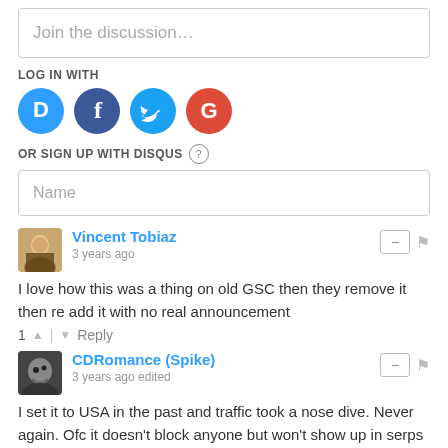Join the discussion…
LOG IN WITH
[Figure (other): Social login icons: Disqus (D), Facebook (f), Twitter bird, Google (G)]
OR SIGN UP WITH DISQUS (?)
Name
Vincent Tobiaz
3 years ago
I love how this was a thing on old GSC then they remove it then re add it with no real announcement
1 ^ | v Reply
CDRomance (Spike)
3 years ago edited
I set it to USA in the past and traffic took a nose dive. Never again. Ofc it doesn't block anyone but won't show up in serps either.